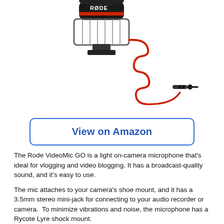[Figure (photo): Rode VideoMic GO on-camera microphone with red accents and a coiled red cable ending in a 3.5mm mini-jack plug, shown against a white background.]
View on Amazon
The Rode VideoMic GO is a light on-camera microphone that's ideal for vlogging and video blogging. It has a broadcast-quality sound, and it's easy to use.
The mic attaches to your camera's shoe mount, and it has a 3.5mm stereo mini-jack for connecting to your audio recorder or camera.  To minimize vibrations and noise, the microphone has a Rycote Lyre shock mount.
The Rode VideoMic GO comes with a highly directional pickup that focuses directly in front of the microphone and eliminates other ambient noises, separating your subject